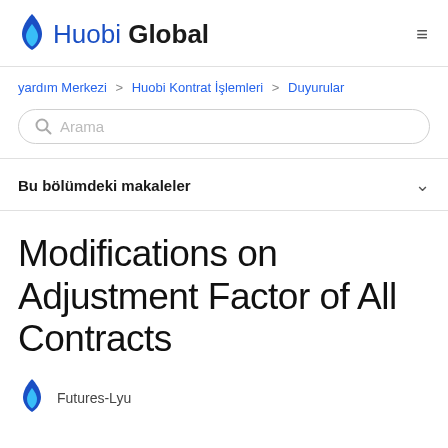Huobi Global
yardım Merkezi > Huobi Kontrat İşlemleri > Duyurular
Modifications on Adjustment Factor of All Contracts
Futures-Lyu